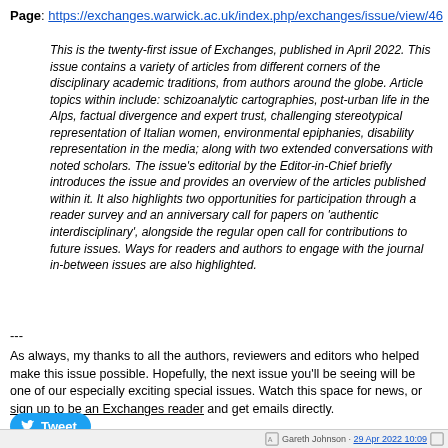Page: https://exchanges.warwick.ac.uk/index.php/exchanges/issue/view/46
This is the twenty-first issue of Exchanges, published in April 2022. This issue contains a variety of articles from different corners of the disciplinary academic traditions, from authors around the globe. Article topics within include: schizoanalytic cartographies, post-urban life in the Alps, factual divergence and expert trust, challenging stereotypical representation of Italian women, environmental epiphanies, disability representation in the media; along with two extended conversations with noted scholars. The issue's editorial by the Editor-in-Chief briefly introduces the issue and provides an overview of the articles published within it. It also highlights two opportunities for participation through a reader survey and an anniversary call for papers on 'authentic interdisciplinary', alongside the regular open call for contributions to future issues. Ways for readers and authors to engage with the journal in-between issues are also highlighted.
---
As always, my thanks to all the authors, reviewers and editors who helped make this issue possible. Hopefully, the next issue you'll be seeing will be one of our especially exciting special issues. Watch this space for news, or sign up to be an Exchanges reader and get emails directly.
Gareth Johnson · 29 Apr 2022 10:09